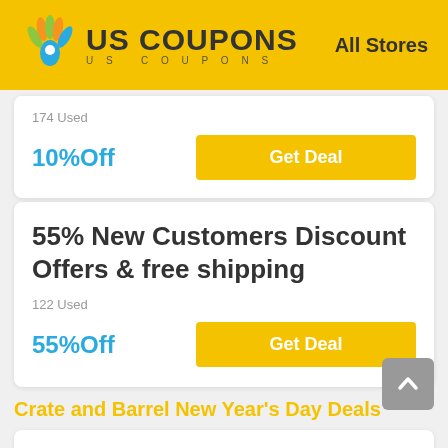US COUPONS   All Stores
174 Used
10%Off
Get Deal
55% New Customers Discount Offers & free shipping
122 Used
55%Off
Get Deal
Crate and Barrel New Year's Day Deals